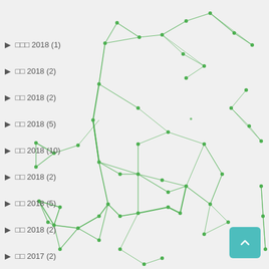▶ □□□ 2018 (1)
▶ □□ 2018 (2)
▶ □□ 2018 (2)
▶ □□ 2018 (5)
▶ □□ 2018 (10)
▶ □□ 2018 (2)
▶ □□ 2018 (5)
▶ □□ 2018 (2)
▶ □□ 2017 (2)
[Figure (network-graph): A network graph with green nodes and edges on a light gray background, showing interconnected nodes forming clusters and chains across the page.]